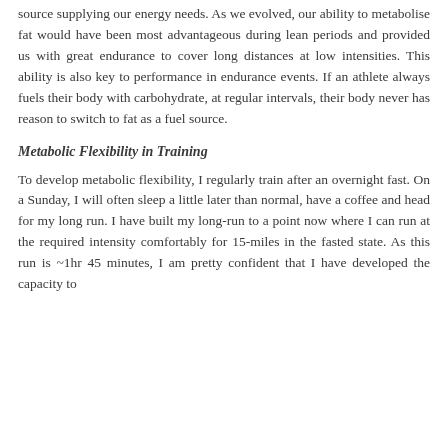source supplying our energy needs. As we evolved, our ability to metabolise fat would have been most advantageous during lean periods and provided us with great endurance to cover long distances at low intensities. This ability is also key to performance in endurance events. If an athlete always fuels their body with carbohydrate, at regular intervals, their body never has reason to switch to fat as a fuel source.
Metabolic Flexibility in Training
To develop metabolic flexibility, I regularly train after an overnight fast. On a Sunday, I will often sleep a little later than normal, have a coffee and head for my long run. I have built my long-run to a point now where I can run at the required intensity comfortably for 15-miles in the fasted state. As this run is ~1hr 45 minutes, I am pretty confident that I have developed the capacity to